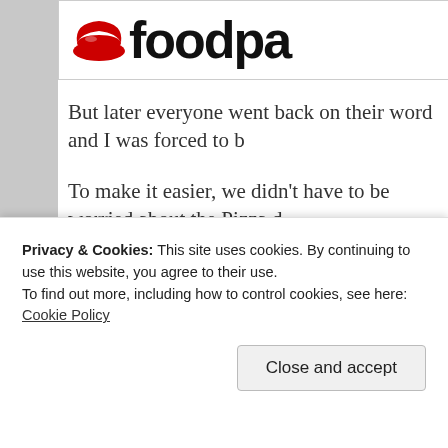[Figure (logo): Foodpanda logo — red swirl/bowl icon with black bold text 'foodpa' (partially cropped)]
But later everyone went back on their word and I was forced to b[e...]
To make it easier, we didn't have to be worried about the Pizza d[ough...] went out and bought Pizza bread for convenience sake.
Do you people really want me to go into the recipe and the meth[od...] everyone can simply find out how to make Pizza! I ll share some[...]
Here goes nothing.
While we were crushing black pepper one mischief maker start[ed...]
Privacy & Cookies: This site uses cookies. By continuing to use this website, you agree to their use.
To find out more, including how to control cookies, see here: Cookie Policy
Close and accept